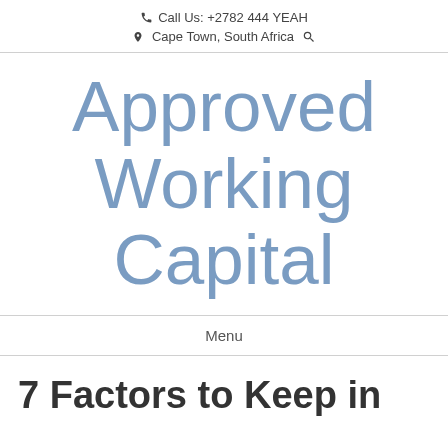Call Us: +2782 444 YEAH | Cape Town, South Africa
Approved Working Capital
Menu
7 Factors to Keep in